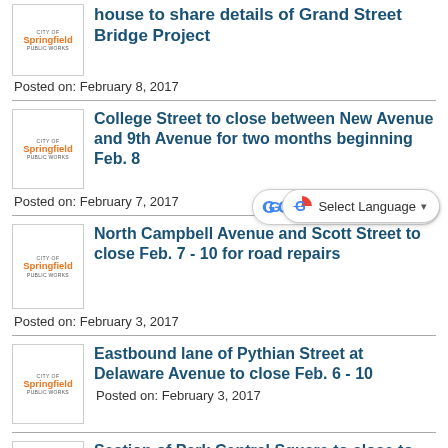[Figure (logo): City of Springfield Public Works logo]
house to share details of Grand Street Bridge Project
Posted on: February 8, 2017
[Figure (logo): City of Springfield Public Works logo]
College Street to close between New Avenue and 9th Avenue for two months beginning Feb. 8
Posted on: February 7, 2017
[Figure (logo): City of Springfield Public Works logo]
North Campbell Avenue and Scott Street to close Feb. 7 - 10 for road repairs
Posted on: February 3, 2017
[Figure (logo): City of Springfield Public Works logo]
Eastbound lane of Pythian Street at Delaware Avenue to close Feb. 6 - 10
Posted on: February 3, 2017
[Figure (logo): City of Springfield Public Works logo]
Section of Park Central Square to close to traffic Feb. 5 - 6
Posted on: February 3, 2017